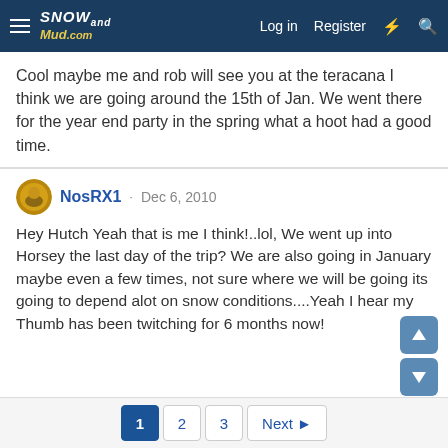SnowAndMud.com | Log in | Register
Cool maybe me and rob will see you at the teracana I think we are going around the 15th of Jan. We went there for the year end party in the spring what a hoot had a good time.
NosRX1 · Dec 6, 2010
Hey Hutch Yeah that is me I think!..lol, We went up into Horsey the last day of the trip? We are also going in January maybe even a few times, not sure where we will be going its going to depend alot on snow conditions....Yeah I hear my Thumb has been twitching for 6 months now!
1 2 3 Next